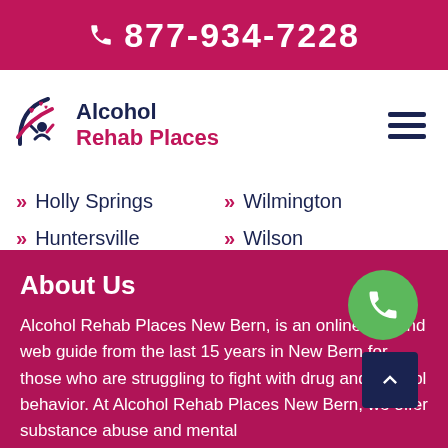877-934-7228
[Figure (logo): Alcohol Rehab Places logo with stylized person and hearts icon in navy and crimson]
Holly Springs
Wilmington
Huntersville
Wilson
Indian Trail
Winston-Salem
About Us
Alcohol Rehab Places New Bern, is an online site and web guide from the last 15 years in New Bern for those who are struggling to fight with drug and alcohol behavior. At Alcohol Rehab Places New Bern, we offer substance abuse and mental